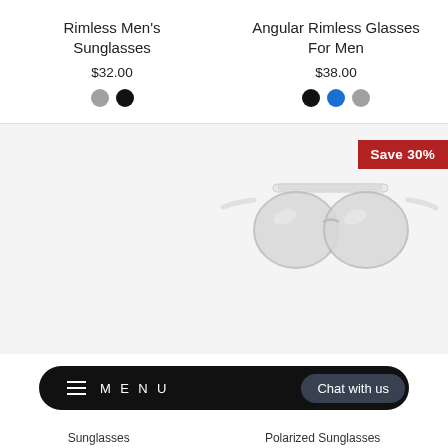Rimless Men's Sunglasses
$32.00
Angular Rimless Glasses For Men
$38.00
[Figure (photo): White aviator-style sunglasses with mirrored lenses on a light gray background, with a red 'Save 30%' badge in the top right corner.]
Save 30%
≡ MENU  Chat with us
Sunglasses
Polarized Sunglasses